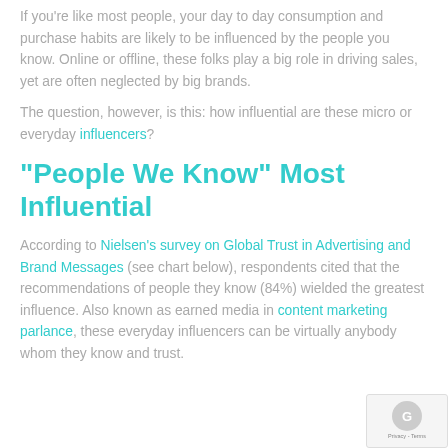If you're like most people, your day to day consumption and purchase habits are likely to be influenced by the people you know. Online or offline, these folks play a big role in driving sales, yet are often neglected by big brands.
The question, however, is this: how influential are these micro or everyday influencers?
“People We Know” Most Influential
According to Nielsen’s survey on Global Trust in Advertising and Brand Messages (see chart below), respondents cited that the recommendations of people they know (84%) wielded the greatest influence. Also known as earned media in content marketing parlance, these everyday influencers can be virtually anybody whom they know and trust.